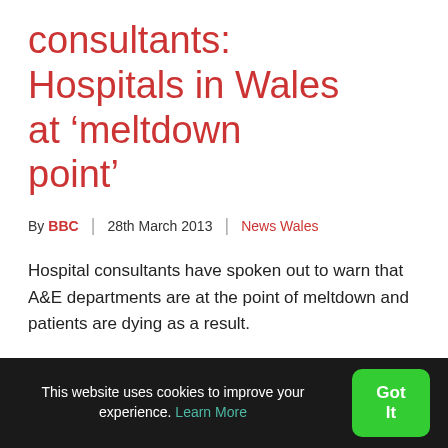consultants: Hospitals in Wales at ‘meltdown point’
By BBC | 28th March 2013 | News Wales
Hospital consultants have spoken out to warn that A&E departments are at the point of meltdown and patients are dying as a result.
This website uses cookies to improve your experience. Learn More  Got It